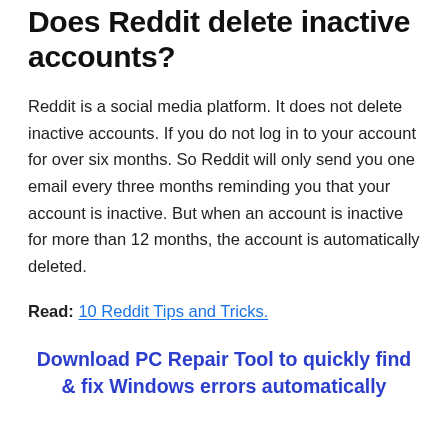Does Reddit delete inactive accounts?
Reddit is a social media platform. It does not delete inactive accounts. If you do not log in to your account for over six months. So Reddit will only send you one email every three months reminding you that your account is inactive. But when an account is inactive for more than 12 months, the account is automatically deleted.
Read: 10 Reddit Tips and Tricks.
Download PC Repair Tool to quickly find & fix Windows errors automatically